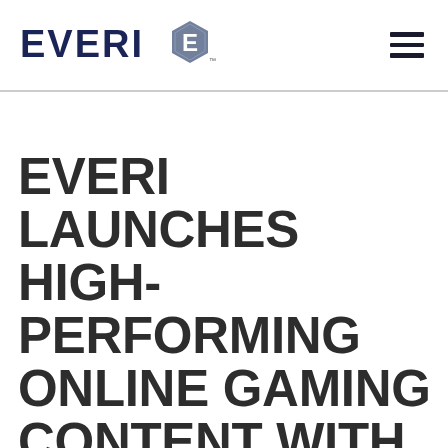EVERI [logo]
EVERI LAUNCHES HIGH-PERFORMING ONLINE GAMING CONTENT WITH ATLANTIC LOTTERY CORPORATION